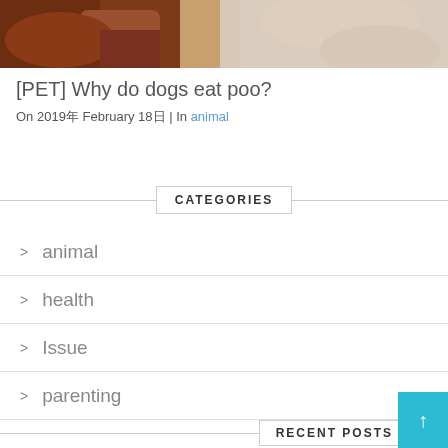[Figure (photo): Photo of two dogs, one brown/reddish on the left and one white/light-colored on the right, both appearing to eat or sniff downward.]
[PET] Why do dogs eat poo?
On 2019年 February 18日 | In animal
CATEGORIES
animal
health
Issue
parenting
RECENT POSTS